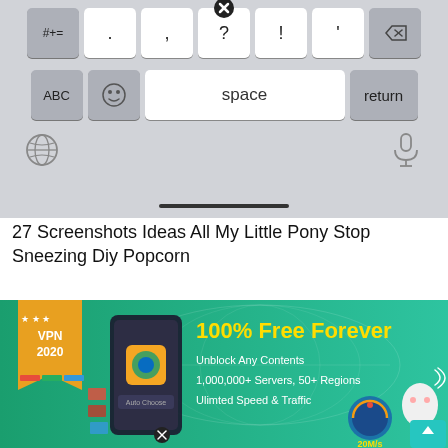[Figure (screenshot): iOS keyboard screenshot showing special characters row with keys: #+=, period, comma, question mark (with close X badge), exclamation mark, apostrophe, backspace. Below: ABC, emoji, space bar, return. Globe and microphone icons at bottom. Home indicator bar.]
27 Screenshots Ideas All My Little Pony Stop Sneezing Diy Popcorn
[Figure (screenshot): VPN 2020 app advertisement banner on teal/green background. Shows '100% Free Forever' in yellow text, Unblock Any Contents, 1,000,000+ Servers 50+ Regions, Ulimted Speed & Traffic. Features phone mockup with Auto Choose, speed gauge showing 20M/s, cartoon ghost character with WiFi, and various country flags. VPN 2020 badge in top left corner. Scroll-up button in bottom right.]